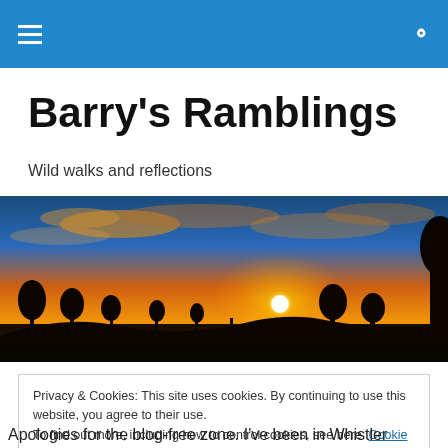Barry's Ramblings — navigation bar with hamburger menu and search icon
Barry's Ramblings
Wild walks and reflections
[Figure (photo): Wide panoramic photo of a golden-orange sunset landscape with silhouetted trees on the horizon and dramatic clouds in the sky]
Privacy & Cookies: This site uses cookies. By continuing to use this website, you agree to their use.
To find out more, including how to control cookies, see here: Cookie Policy
[Close and accept button]
Apologies for the blog-free zone. I've been in Whistler